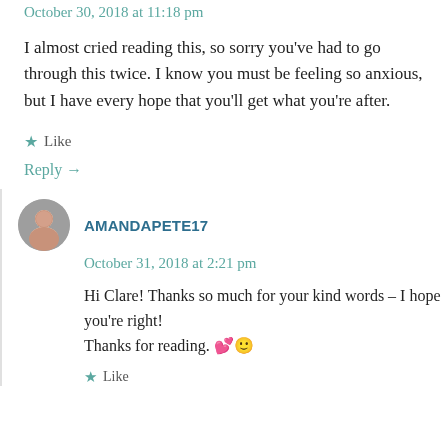October 30, 2018 at 11:18 pm
I almost cried reading this, so sorry you've had to go through this twice. I know you must be feeling so anxious, but I have every hope that you'll get what you're after.
★ Like
Reply →
AMANDAPETE17
October 31, 2018 at 2:21 pm
Hi Clare! Thanks so much for your kind words – I hope you're right!
Thanks for reading. 💕🙂
★ Like